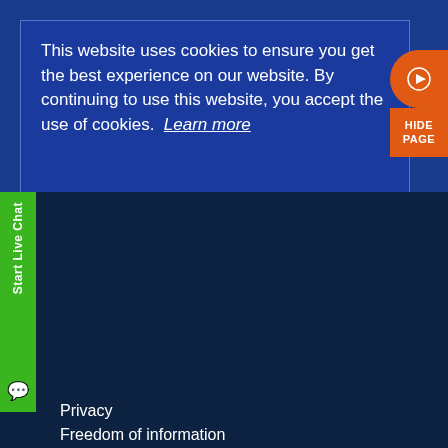[Figure (screenshot): Cookie consent notification overlay on Northumbria Police website with blue background and orange Hide Page / play buttons on the right side]
This website uses cookies to ensure you get the best experience on our website. By continuing to use this website, you accept the use of cookies. Learn more
HIDE PAGE
Careers
Start Live Chat
Privacy
Terms of use
Accessibility
BACK TO TOP
Freedom of information